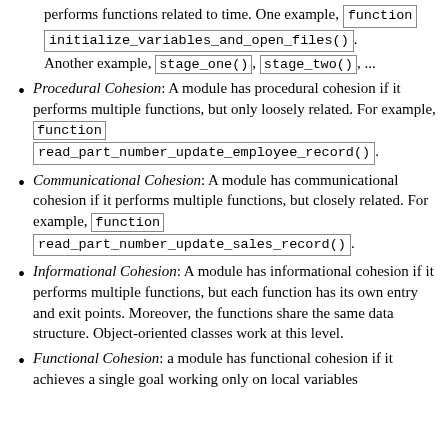performs functions related to time. One example, function initialize_variables_and_open_files(). Another example, stage_one(), stage_two(), ...
Procedural Cohesion: A module has procedural cohesion if it performs multiple functions, but only loosely related. For example, function read_part_number_update_employee_record().
Communicational Cohesion: A module has communicational cohesion if it performs multiple functions, but closely related. For example, function read_part_number_update_sales_record().
Informational Cohesion: A module has informational cohesion if it performs multiple functions, but each function has its own entry and exit points. Moreover, the functions share the same data structure. Object-oriented classes work at this level.
Functional Cohesion: a module has functional cohesion if it achieves a single goal working only on local variables.